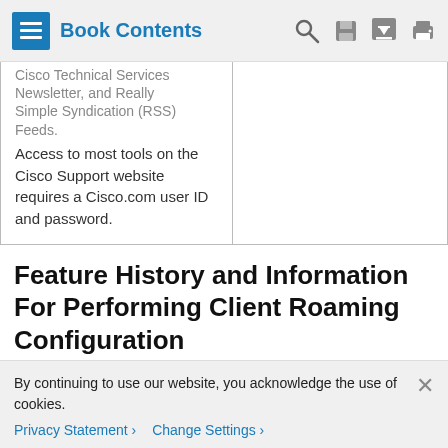Book Contents
| (continued from above) |  |
| --- | --- |
| Cisco Technical Services Newsletter, and Really Simple Syndication (RSS) Feeds.
Access to most tools on the Cisco Support website requires a Cisco.com user ID and password. |  |
Feature History and Information For Performing Client Roaming Configuration
| Release | Feature Information |
| --- | --- |
By continuing to use our website, you acknowledge the use of cookies.
Privacy Statement > Change Settings >